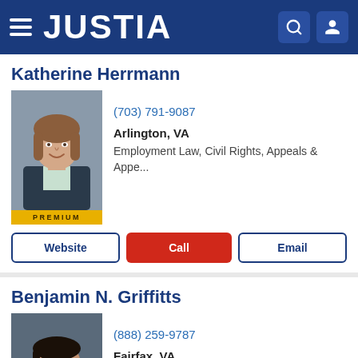JUSTIA
Katherine Herrmann
(703) 791-9087
Arlington, VA
Employment Law, Civil Rights, Appeals & Appe...
Benjamin N. Griffitts
(888) 259-9787
Fairfax, VA
Personal Injury, Criminal Law, Estate Planning,...